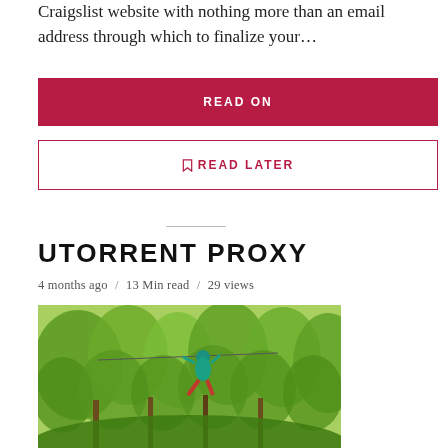Craigslist website with nothing more than an email address through which to finalize your…
READ ON
🔖 READ LATER
UTORRENT PROXY
4 months ago / 13 Min read / 29 views
[Figure (photo): Person in teal outfit flying on a zipline or aerial swing through lush green trees]